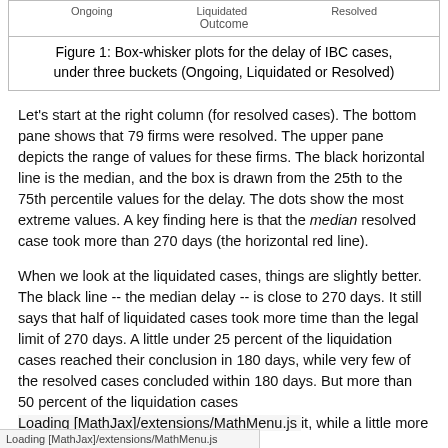[Figure (other): Top portion of box-whisker plot chart showing x-axis labels: Ongoing, Liquidated, Resolved, and x-axis title: Outcome]
Figure 1: Box-whisker plots for the delay of IBC cases, under three buckets (Ongoing, Liquidated or Resolved)
Let's start at the right column (for resolved cases). The bottom pane shows that 79 firms were resolved. The upper pane depicts the range of values for these firms. The black horizontal line is the median, and the box is drawn from the 25th to the 75th percentile values for the delay. The dots show the most extreme values. A key finding here is that the median resolved case took more than 270 days (the horizontal red line).
When we look at the liquidated cases, things are slightly better. The black line -- the median delay -- is close to 270 days. It still says that half of liquidated cases took more time than the legal limit of 270 days. A little under 25 percent of the liquidation cases reached their conclusion in 180 days, while very few of the resolved cases concluded within 180 days. But more than 50 percent of the liquidation cases [hit], while a little more than
Loading [MathJax]/extensions/MathMenu.js